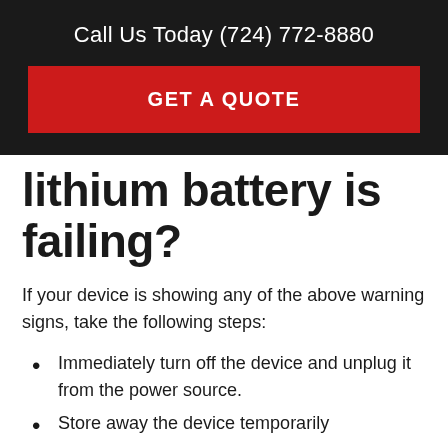Call Us Today (724) 772-8880
GET A QUOTE
lithium battery is failing?
If your device is showing any of the above warning signs, take the following steps:
Immediately turn off the device and unplug it from the power source.
Store away the device temporarily...